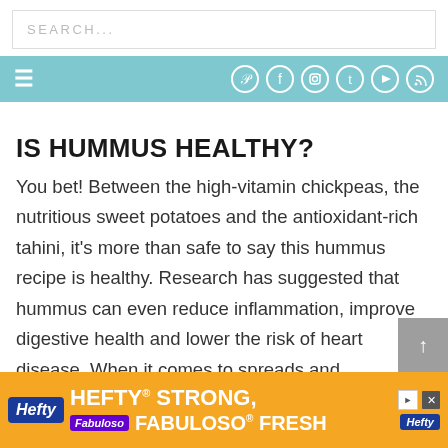SEARCH...
[Figure (screenshot): Navigation bar with hamburger menu and social media icons (Pinterest, Facebook, Instagram, Twitter, YouTube, RSS) on teal/light-blue background]
IS HUMMUS HEALTHY?
You bet! Between the high-vitamin chickpeas, the nutritious sweet potatoes and the antioxidant-rich tahini, it's more than safe to say this hummus recipe is healthy. Research has suggested that hummus can even reduce inflammation, improve digestive health and lower the risk of heart disease. When it comes to spreads and appetizers, this ...
[Figure (screenshot): Hefty STRONG FABULOSO FRESH advertisement banner in orange/yellow with Fabuloso logo]